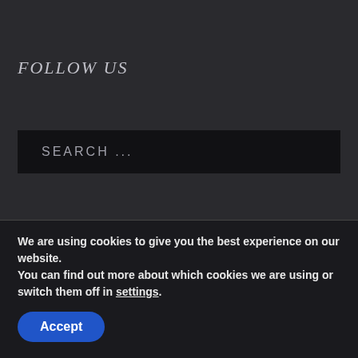FOLLOW US
SEARCH ...
JOIN AUDIBLE!
We are using cookies to give you the best experience on our website.
You can find out more about which cookies we are using or switch them off in settings.
Accept